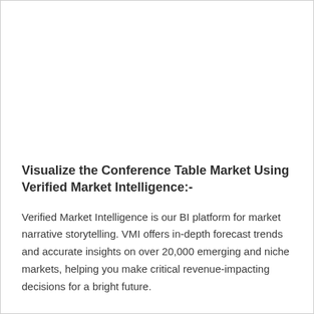Visualize the Conference Table Market Using Verified Market Intelligence:-
Verified Market Intelligence is our BI platform for market narrative storytelling. VMI offers in-depth forecast trends and accurate insights on over 20,000 emerging and niche markets, helping you make critical revenue-impacting decisions for a bright future.